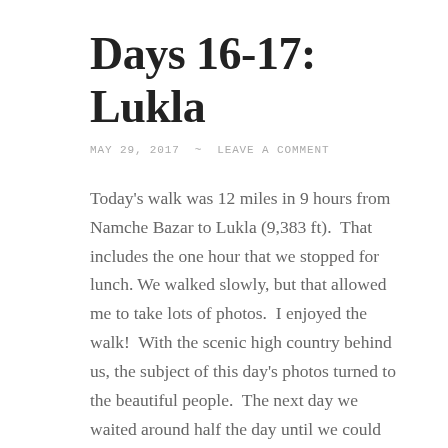Days 16-17: Lukla
MAY 29, 2017  ~  LEAVE A COMMENT
Today's walk was 12 miles in 9 hours from Namche Bazar to Lukla (9,383 ft).  That includes the one hour that we stopped for lunch. We walked slowly, but that allowed me to take lots of photos.  I enjoyed the walk!  With the scenic high country behind us, the subject of this day's photos turned to the beautiful people.  The next day we waited around half the day until we could fly back to Kathmandu.
That's all for this trip. It was a very special. The photos tell the story of the amazing scenery